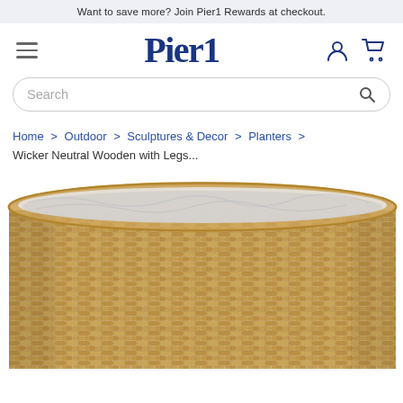Want to save more? Join Pier1 Rewards at checkout.
[Figure (logo): Pier1 logo in dark navy blue serif bold text, hamburger menu icon on left, user account and cart icons on right]
Search
Home > Outdoor > Sculptures & Decor > Planters > Wicker Neutral Wooden with Legs...
[Figure (photo): Close-up photo of a wicker/rattan basket planter with a clear plastic liner visible at the top. The basket has a natural tan/honey color woven texture.]